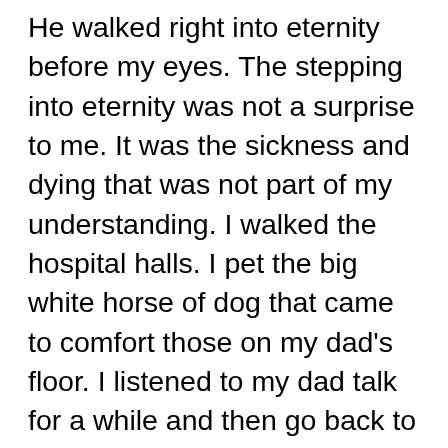He walked right into eternity before my eyes. The stepping into eternity was not a surprise to me. It was the sickness and dying that was not part of my understanding. I walked the hospital halls. I pet the big white horse of dog that came to comfort those on my dad's floor. I listened to my dad talk for a while and then go back to rest. I watched my dad acknowledge doctors and visitors and drink juice and ice. Not knowing it at the time, I watched my dad see my children for the last time. I understood that my dad